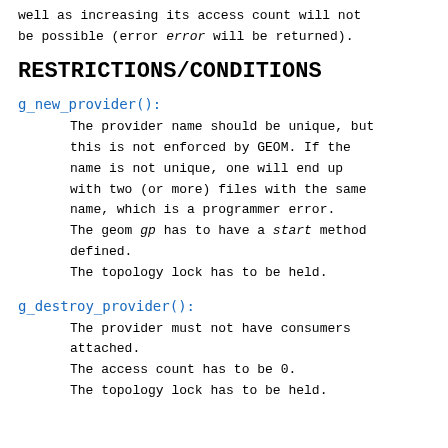well as increasing its access count will not be possible (error error will be returned).
RESTRICTIONS/CONDITIONS
g_new_provider():
The provider name should be unique, but this is not enforced by GEOM. If the name is not unique, one will end up with two (or more) files with the same name, which is a programmer error. The geom gp has to have a start method defined. The topology lock has to be held.
g_destroy_provider():
The provider must not have consumers attached. The access count has to be 0. The topology lock has to be held.